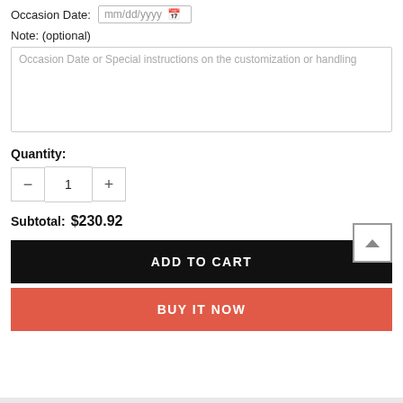Occasion Date: mm/dd/yyyy
Note: (optional)
Occasion Date or Special instructions on the customization or handling
Quantity:
Subtotal: $230.92
ADD TO CART
BUY IT NOW